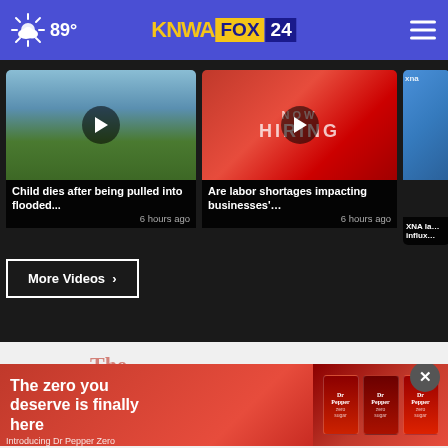89° KNWA FOX 24
[Figure (screenshot): Video thumbnail showing flooded field with play button]
Child dies after being pulled into flooded...
6 hours ago
[Figure (screenshot): Video thumbnail showing NOW HIRING red sign with play button]
Are labor shortages impacting businesses'…
6 hours ago
[Figure (screenshot): Partial video thumbnail showing XNA data screen]
XNA la… influx…
More Videos ›
[Figure (screenshot): Advertisement: The zero you deserve is finally here - Dr Pepper Zero Sugar]
The zero you deserve is finally here
Introducing Dr Pepper Zero